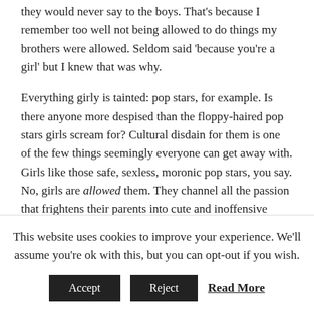they would never say to the boys. That's because I remember too well not being allowed to do things my brothers were allowed. Seldom said 'because you're a girl' but I knew that was why.
Everything girly is tainted: pop stars, for example. Is there anyone more despised than the floppy-haired pop stars girls scream for? Cultural disdain for them is one of the few things seemingly everyone can get away with. Girls like those safe, sexless, moronic pop stars, you say. No, girls are allowed them. They channel all the passion that frightens their parents into cute and inoffensive stars. Look at all the audiences at Beatle concerts: the tears, the ecstatic expressions, the clenched fists and
This website uses cookies to improve your experience. We'll assume you're ok with this, but you can opt-out if you wish.